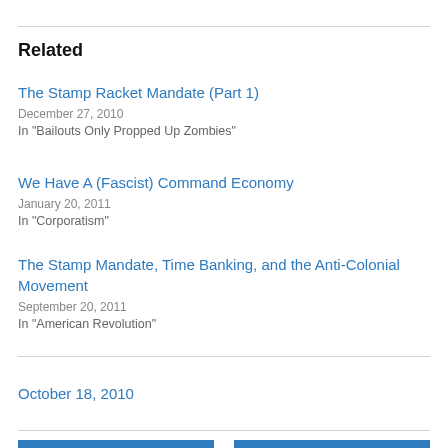Related
The Stamp Racket Mandate (Part 1)
December 27, 2010
In "Bailouts Only Propped Up Zombies"
We Have A (Fascist) Command Economy
January 20, 2011
In "Corporatism"
The Stamp Mandate, Time Banking, and the Anti-Colonial Movement
September 20, 2011
In "American Revolution"
October 18, 2010